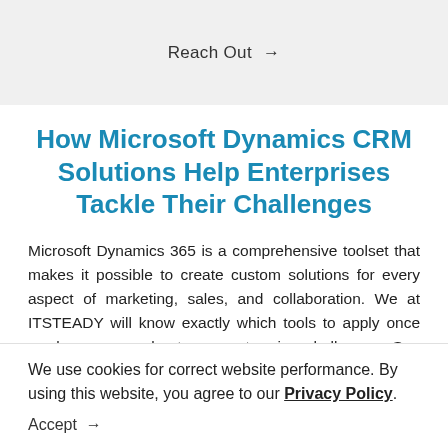Reach Out →
How Microsoft Dynamics CRM Solutions Help Enterprises Tackle Their Challenges
Microsoft Dynamics 365 is a comprehensive toolset that makes it possible to create custom solutions for every aspect of marketing, sales, and collaboration. We at ITSTEADY will know exactly which tools to apply once we learn more about your enterprise challenges. See some of
We use cookies for correct website performance. By using this website, you agree to our Privacy Policy.
Accept →